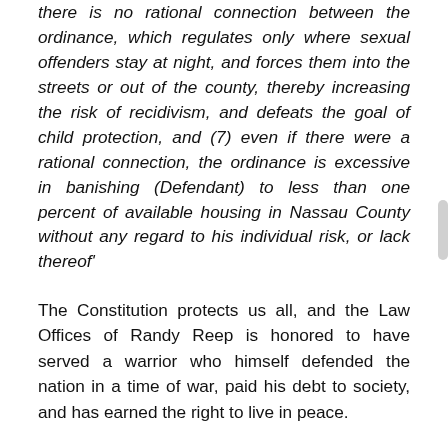there is no rational connection between the ordinance, which regulates only where sexual offenders stay at night, and forces them into the streets or out of the county, thereby increasing the risk of recidivism, and defeats the goal of child protection, and (7) even if there were a rational connection, the ordinance is excessive in banishing (Defendant) to less than one percent of available housing in Nassau County without any regard to his individual risk, or lack thereof'
The Constitution protects us all, and the Law Offices of Randy Reep is honored to have served a warrior who himself defended the nation in a time of war, paid his debt to society, and has earned the right to live in peace.